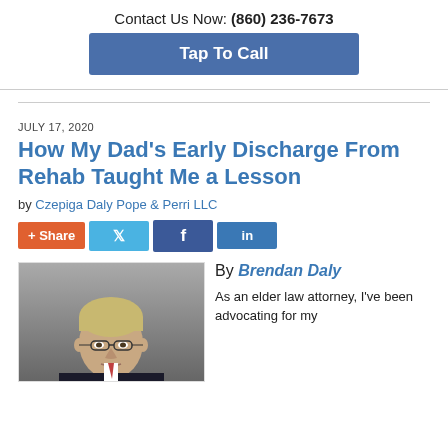Contact Us Now: (860) 236-7673
Tap To Call
JULY 17, 2020
How My Dad's Early Discharge From Rehab Taught Me a Lesson
by Czepiga Daly Pope & Perri LLC
[Figure (other): Social share buttons: Share, Twitter, Facebook, LinkedIn]
[Figure (photo): Professional headshot of Brendan Daly, a man with gray-blonde hair and glasses, against a gray background]
By Brendan Daly
As an elder law attorney, I've been advocating for my